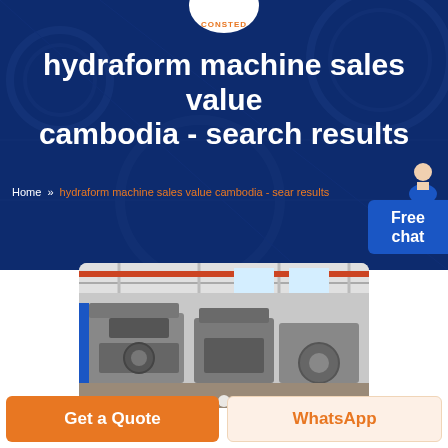CONSTED
hydraform machine sales value cambodia - search results
Home » hydraform machine sales value cambodia - search results
[Figure (photo): Industrial manufacturing facility showing heavy machinery and equipment in a large warehouse/factory setting]
Get a Quote
WhatsApp